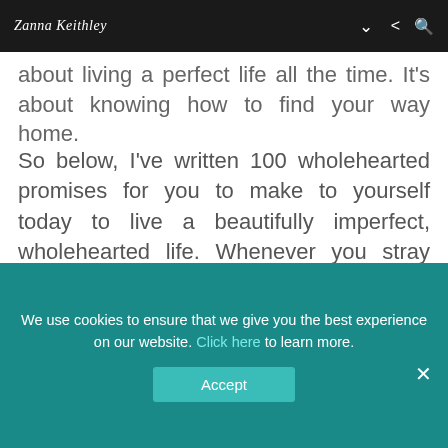Zanna Keithley
about living a perfect life all the time. It's about knowing how to find your way home.
So below, I've written 100 wholehearted promises for you to make to yourself today to live a beautifully imperfect, wholehearted life. Whenever you stray from your authentic path, allow these words to be like the gentle beacon of a lighthouse, guiding your way home. Also be sure to download your free printable wholehearted promises so you can repeat these promises to yourself daily.
More Articles For You:
We use cookies to ensure that we give you the best experience on our website. Click here to learn more.
Accept